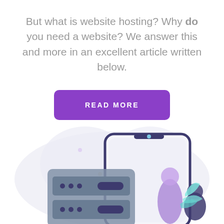But what is website hosting? Why do you need a website? We answer this and more in an excellent article written below.
[Figure (illustration): Purple 'READ MORE' button with rounded corners on white background]
[Figure (illustration): Illustration of a server rack and mobile phone with a person and plant, on a light lavender blob background]